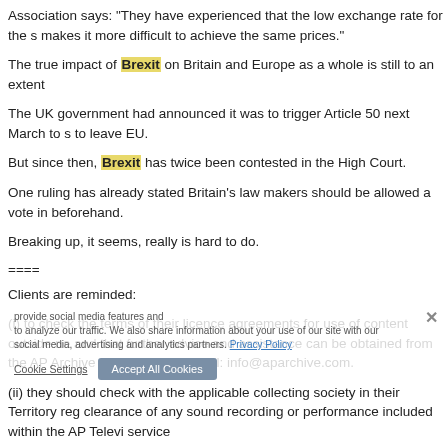Association says: "They have experienced that the low exchange rate for the s makes it more difficult to achieve the same prices."
The true impact of Brexit on Britain and Europe as a whole is still to an extent
The UK government had announced it was to trigger Article 50 next March to s to leave EU.
But since then, Brexit has twice been contested in the High Court.
One ruling has already stated Britain’s law makers should be allowed a vote in beforehand.
Breaking up, it seems, really is hard to do.
====
Clients are reminded:
(i) to check the terms of their licence agreements for use of content outside ne and that further advice and assistance can be obtained from the AP Archive on 7482 7482 Email: info@aparchive.com.
(ii) they should check with the applicable collecting society in their Territory reg clearance of any sound recording or performance included within the AP Televi service
(iii) they have editorial responsibility for the use of all and any content included Television News service and for libel, privacy, compliance and third party rights their Territ...